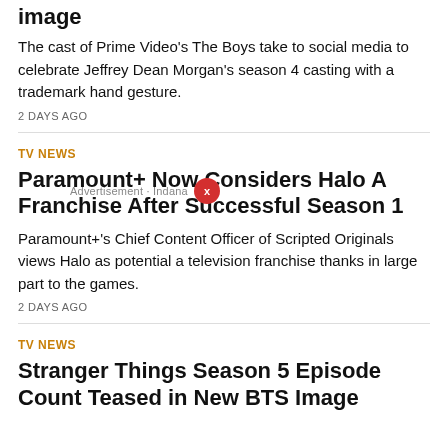image
The cast of Prime Video's The Boys take to social media to celebrate Jeffrey Dean Morgan's season 4 casting with a trademark hand gesture.
2 DAYS AGO
TV NEWS
Paramount+ Now Considers Halo A Franchise After Successful Season 1
Paramount+'s Chief Content Officer of Scripted Originals views Halo as potential a television franchise thanks in large part to the games.
2 DAYS AGO
TV NEWS
Stranger Things Season 5 Episode Count Teased in New BTS Image